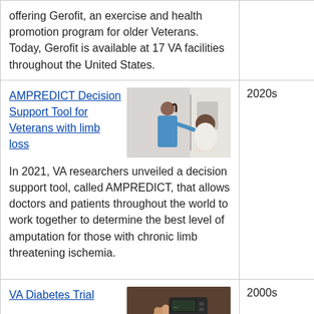offering Gerofit, an exercise and health promotion program for older Veterans. Today, Gerofit is available at 17 VA facilities throughout the United States.
AMPREDICT Decision Support Tool for Veterans with limb loss
[Figure (photo): A nurse or healthcare worker in blue scrubs speaking with an older male patient seated in a clinical setting.]
In 2021, VA researchers unveiled a decision support tool, called AMPREDICT, that allows doctors and patients throughout the world to work together to determine the best level of amputation for those with chronic limb threatening ischemia.
2020s
VA Diabetes Trial
[Figure (photo): Close-up of a hand holding a small medical device, likely a glucose meter or similar diabetes management tool.]
2000s